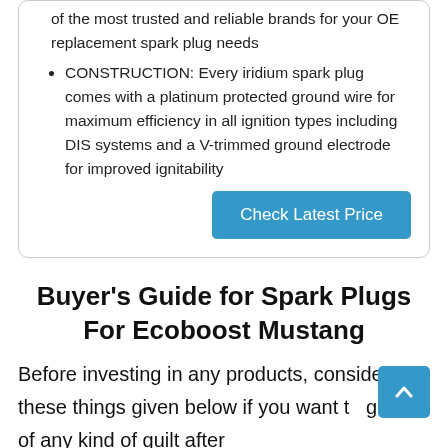of the most trusted and reliable brands for your OE replacement spark plug needs
CONSTRUCTION: Every iridium spark plug comes with a platinum protected ground wire for maximum efficiency in all ignition types including DIS systems and a V-trimmed ground electrode for improved ignitability
Check Latest Price
Buyer’s Guide for Spark Plugs For Ecoboost Mustang
Before investing in any products, consider these things given below if you want to get rid of any kind of guilt after